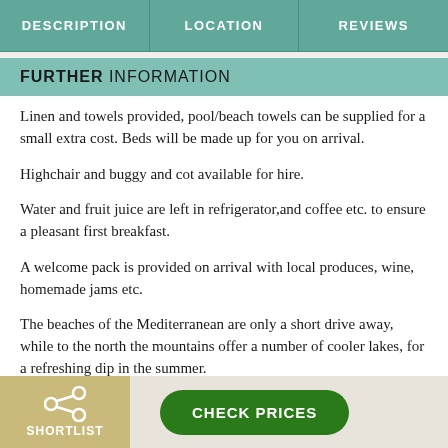DESCRIPTION | LOCATION | Reviews
FURTHER INFORMATION
Linen and towels provided, pool/beach towels can be supplied for a small extra cost. Beds will be made up for you on arrival.
Highchair and buggy and cot available for hire.
Water and fruit juice are left in refrigerator,and coffee etc. to ensure a pleasant first breakfast.
A welcome pack is provided on arrival with local produces, wine, homemade jams etc.
The beaches of the Mediterranean are only a short drive away, while to the north the mountains offer a number of cooler lakes, for a refreshing dip in the summer.